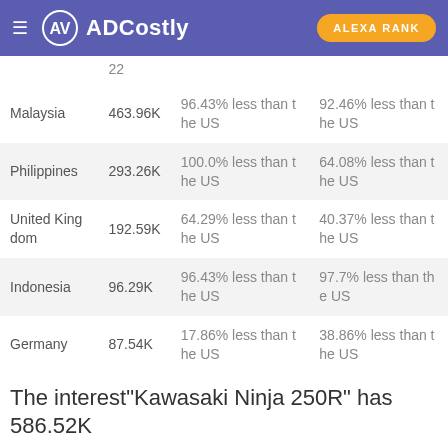ADCostly | ALEXA RANK
| Country | Value | Comparison 1 | Comparison 2 |
| --- | --- | --- | --- |
|  | 22 |  |  |
| Malaysia | 463.96K | 96.43% less than the US | 92.46% less than the US |
| Philippines | 293.26K | 100.0% less than the US | 64.08% less than the US |
| United Kingdom | 192.59K | 64.29% less than the US | 40.37% less than the US |
| Indonesia | 96.29K | 96.43% less than the US | 97.7% less than the US |
| Germany | 87.54K | 17.86% less than the US | 38.86% less than the US |
The interest"Kawasaki Ninja 250R" has 586.52K